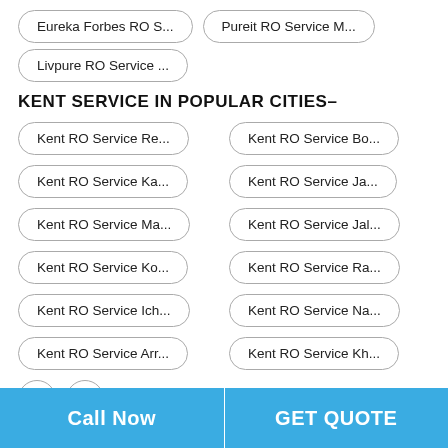Eureka Forbes RO S...
Pureit RO Service M...
Livpure RO Service ...
KENT SERVICE IN POPULAR CITIES-
Kent RO Service Re...
Kent RO Service Bo...
Kent RO Service Ka...
Kent RO Service Ja...
Kent RO Service Ma...
Kent RO Service Jal...
Kent RO Service Ko...
Kent RO Service Ra...
Kent RO Service Ich...
Kent RO Service Na...
Kent RO Service Arr...
Kent RO Service Kh...
Call Now | GET QUOTE